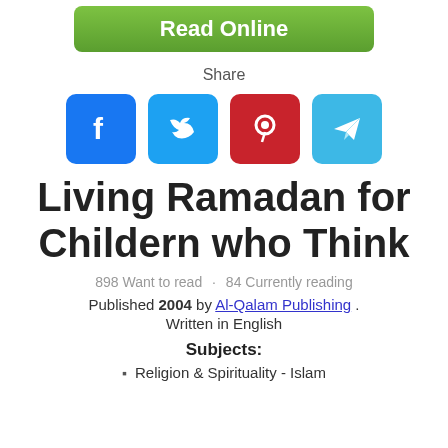[Figure (other): Green 'Read Online' button]
Share
[Figure (other): Social share icons: Facebook, Twitter, Pinterest, Telegram]
Living Ramadan for Childern who Think
898 Want to read · 84 Currently reading
Published 2004 by Al-Qalam Publishing . Written in English
Subjects:
Religion & Spirituality - Islam